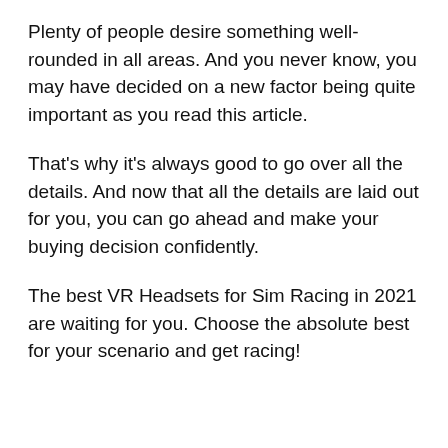Plenty of people desire something well-rounded in all areas. And you never know, you may have decided on a new factor being quite important as you read this article.
That's why it's always good to go over all the details. And now that all the details are laid out for you, you can go ahead and make your buying decision confidently.
The best VR Headsets for Sim Racing in 2021 are waiting for you. Choose the absolute best for your scenario and get racing!